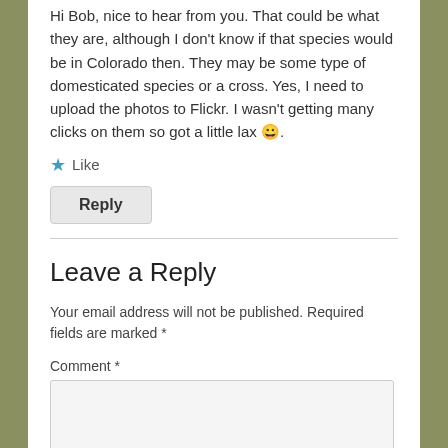Hi Bob, nice to hear from you. That could be what they are, although I don't know if that species would be in Colorado then. They may be some type of domesticated species or a cross. Yes, I need to upload the photos to Flickr. I wasn't getting many clicks on them so got a little lax 😀.
★ Like
Reply
Leave a Reply
Your email address will not be published. Required fields are marked *
Comment *